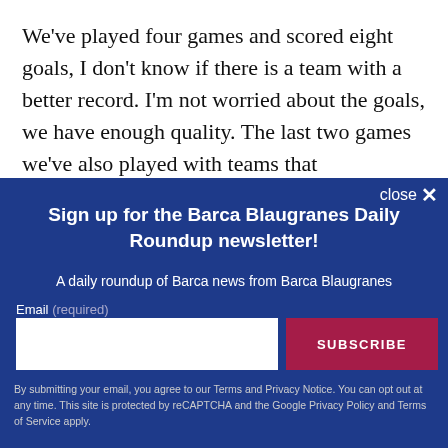We've played four games and scored eight goals, I don't know if there is a team with a better record. I'm not worried about the goals, we have enough quality. The last two games we've also played with teams that
close ✕
Sign up for the Barca Blaugranes Daily Roundup newsletter!
A daily roundup of Barca news from Barca Blaugranes
Email (required)
SUBSCRIBE
By submitting your email, you agree to our Terms and Privacy Notice. You can opt out at any time. This site is protected by reCAPTCHA and the Google Privacy Policy and Terms of Service apply.